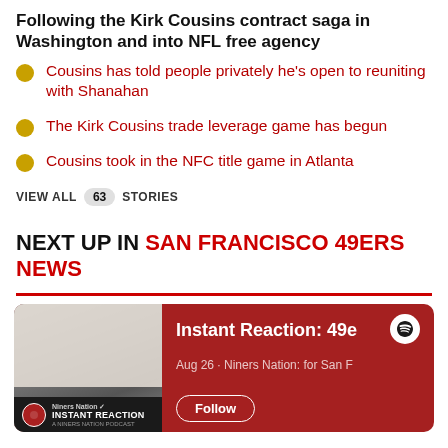Following the Kirk Cousins contract saga in Washington and into NFL free agency
Cousins has told people privately he's open to reuniting with Shanahan
The Kirk Cousins trade leverage game has begun
Cousins took in the NFC title game in Atlanta
VIEW ALL 63 STORIES
NEXT UP IN SAN FRANCISCO 49ERS NEWS
[Figure (other): Podcast card for Instant Reaction: 49ers episode, Aug 26, Niners Nation, with Spotify branding and Follow button]